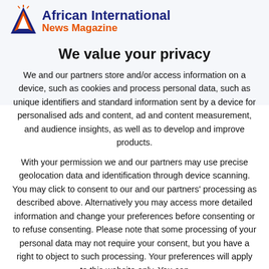African International News Magazine
We value your privacy
We and our partners store and/or access information on a device, such as cookies and process personal data, such as unique identifiers and standard information sent by a device for personalised ads and content, ad and content measurement, and audience insights, as well as to develop and improve products.
With your permission we and our partners may use precise geolocation data and identification through device scanning. You may click to consent to our and our partners' processing as described above. Alternatively you may access more detailed information and change your preferences before consenting or to refuse consenting. Please note that some processing of your personal data may not require your consent, but you have a right to object to such processing. Your preferences will apply to this website only. You can